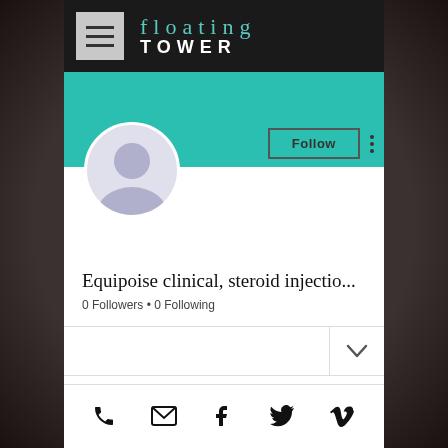[Figure (screenshot): Mobile app UI screenshot showing 'Floating Tower' navigation bar with hamburger menu icon, teal header banner, default avatar, Follow button, user profile name 'Equipoise clinical, steroid injectio...', follower stats '0 Followers • 0 Following', a dropdown row, and bottom social icon bar with phone, email, Facebook, Twitter, and Vimeo icons.]